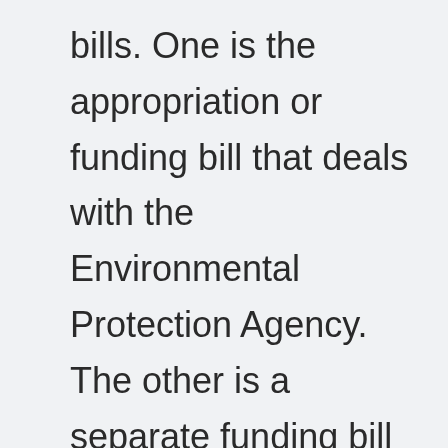bills. One is the appropriation or funding bill that deals with the Environmental Protection Agency. The other is a separate funding bill that deals with the National Park Service, Forest Service, Bureau of Land Management, and a few other land agencies. SHERWOOD: And as if the